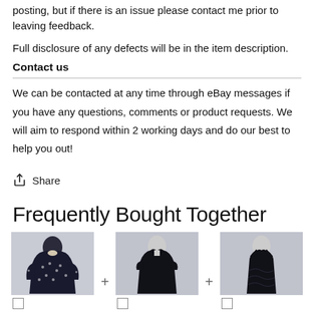posting, but if there is an issue please contact me prior to leaving feedback.
Full disclosure of any defects will be in the item description.
Contact us
We can be contacted at any time through eBay messages if you have any questions, comments or product requests. We will aim to respond within 2 working days and do our best to help you out!
Share
Frequently Bought Together
[Figure (photo): Three product photos of women's dresses on mannequins: left is a black polka dot long-sleeve dress, center is a black short-sleeve V-neck dress, right is a black sleeveless lace dress.]